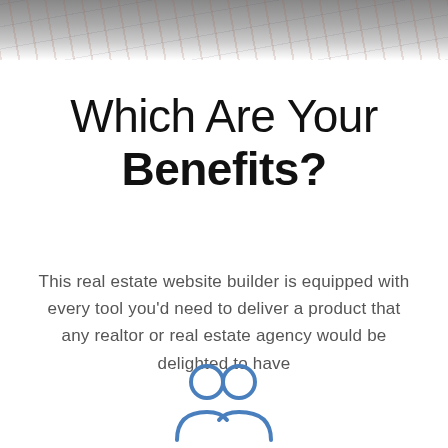[Figure (photo): Partial photo of a map or real estate document at the top of the page]
Which Are Your Benefits?
This real estate website builder is equipped with every tool you'd need to deliver a product that any realtor or real estate agency would be delighted to have
[Figure (illustration): Blue outline icon of two people / users]